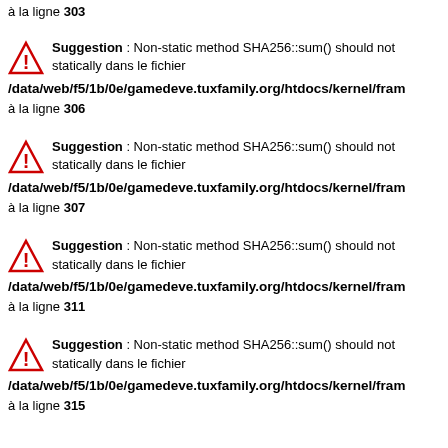à la ligne 303
Suggestion : Non-static method SHA256::sum() should not be called statically dans le fichier /data/web/f5/1b/0e/gamedeve.tuxfamily.org/htdocs/kernel/fram… à la ligne 306
Suggestion : Non-static method SHA256::sum() should not be called statically dans le fichier /data/web/f5/1b/0e/gamedeve.tuxfamily.org/htdocs/kernel/fram… à la ligne 307
Suggestion : Non-static method SHA256::sum() should not be called statically dans le fichier /data/web/f5/1b/0e/gamedeve.tuxfamily.org/htdocs/kernel/fram… à la ligne 311
Suggestion : Non-static method SHA256::sum() should not be called statically dans le fichier /data/web/f5/1b/0e/gamedeve.tuxfamily.org/htdocs/kernel/fram… à la ligne 315